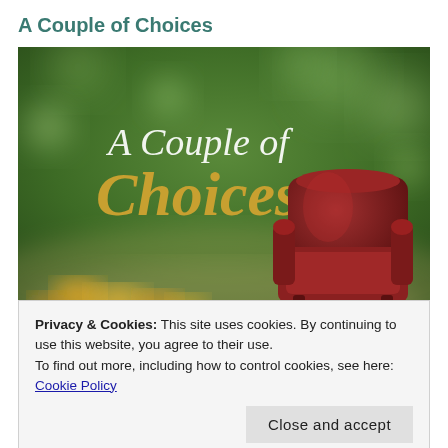A Couple of Choices
[Figure (illustration): Book cover image showing 'A Couple of Choices' title. White serif text 'A Couple of' on blurred green bokeh background, gold serif text 'Choices' below it, and a miniature dark red leather armchair in the lower right corner with flowers at the bottom.]
Privacy & Cookies: This site uses cookies. By continuing to use this website, you agree to their use.
To find out more, including how to control cookies, see here:
Cookie Policy
Close and accept